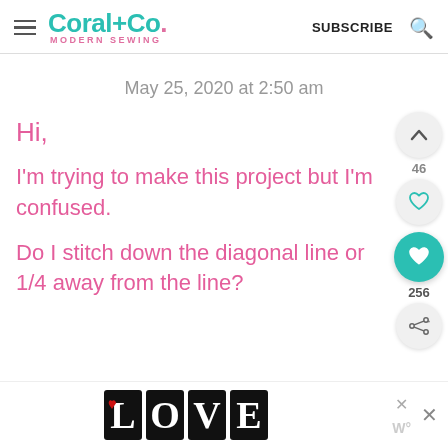Coral+Co. MODERN SEWING | SUBSCRIBE
May 25, 2020 at 2:50 am
Hi,
I'm trying to make this project but I'm confused.
Do I stitch down the diagonal line or 1/4 away from the line?